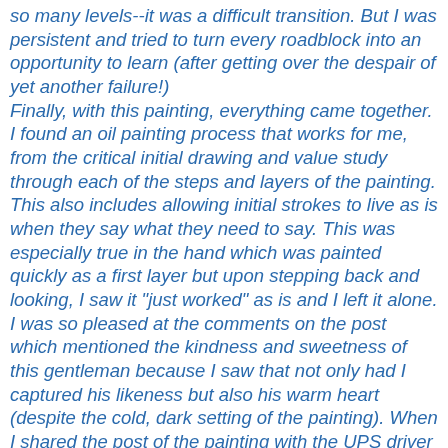so many levels--it was a difficult transition. But I was persistent and tried to turn every roadblock into an opportunity to learn (after getting over the despair of yet another failure!) Finally, with this painting, everything came together. I found an oil painting process that works for me, from the critical initial drawing and value study through each of the steps and layers of the painting. This also includes allowing initial strokes to live as is when they say what they need to say. This was especially true in the hand which was painted quickly as a first layer but upon stepping back and looking, I saw it "just worked" as is and I left it alone. I was so pleased at the comments on the post which mentioned the kindness and sweetness of this gentleman because I saw that not only had I captured his likeness but also his warm heart (despite the cold, dark setting of the painting). When I shared the post of the painting with the UPS driver he was thrilled and wants to buy it to hang in his home as a family heirloom for his kids